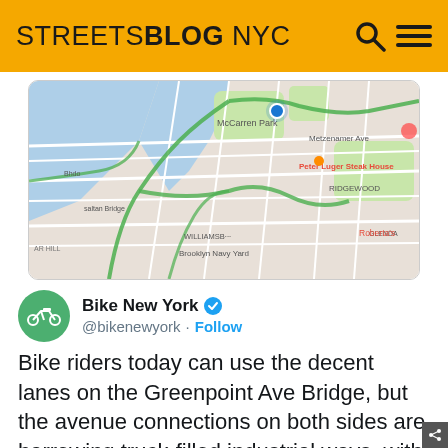STREETSBLOG NYC
[Figure (map): Google Maps screenshot showing Brooklyn/Queens area including Greenpoint Ave Bridge, McCarren Park, Peter Luger Steak House, Williamsburg, Brooklyn Navy Yard, and surrounding streets]
Bike New York @bikenewyork · Follow
Bike riders today can use the decent lanes on the Greenpoint Ave Bridge, but the avenue connections on both sides are harrowing truck-filled industrial ways, with an LIE interchange dumping huge 🚙 traffic onto the route on the Queens side
6:40 PM · Aug 28, 2019 from Brooklyn, NY